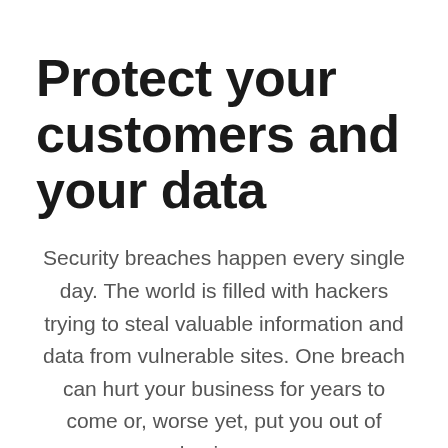Protect your customers and your data
Security breaches happen every single day. The world is filled with hackers trying to steal valuable information and data from vulnerable sites. One breach can hurt your business for years to come or, worse yet, put you out of business. Your website needs to be protected